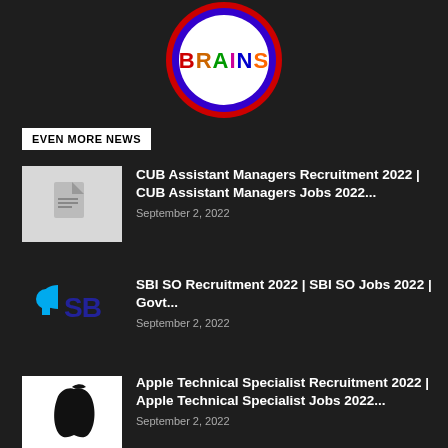[Figure (logo): Circular logo with text BRAINS, red and blue border, white background]
EVEN MORE NEWS
CUB Assistant Managers Recruitment 2022 | CUB Assistant Managers Jobs 2022...
September 2, 2022
SBI SO Recruitment 2022 | SBI SO Jobs 2022 | Govt...
September 2, 2022
Apple Technical Specialist Recruitment 2022 | Apple Technical Specialist Jobs 2022...
September 2, 2022